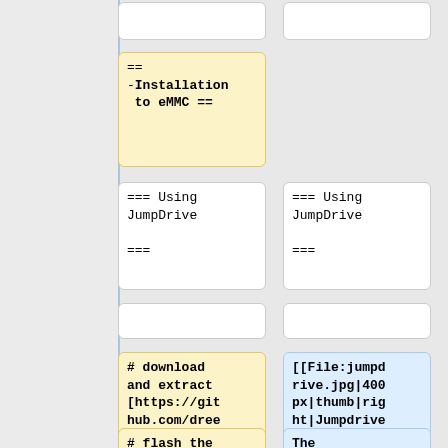== Installation to eMMC ==
=== Using JumpDrive ===
=== Using JumpDrive ===
# download and extract [https://github.com/dreemurrs-embedded/Jumpdrive/releases the Jumpdrive image]
[[File:jumpdrive.jpg|400px|thumb|right|Jumpdrive running on the PinePhone]]
# flash the Jumpdrive
The internal